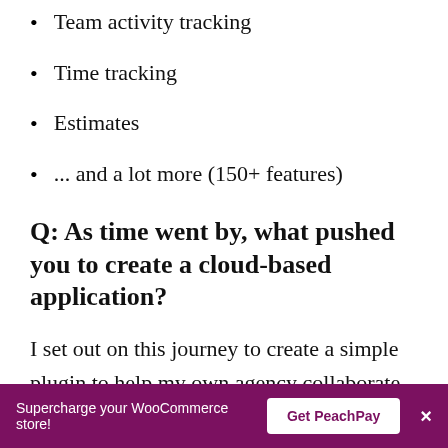Team activity tracking
Time tracking
Estimates
... and a lot more (150+ features)
Q: As time went by, what pushed you to create a cloud-based application?
I set out on this journey to create a simple plugin to help my own agency collaborate with clients. It worked like magic! Not only did it reduce a lot of time wasted on day-to-day tasks, but it also reduced a whole lot
Supercharge your WooCommerce store! Get PeachPay ×